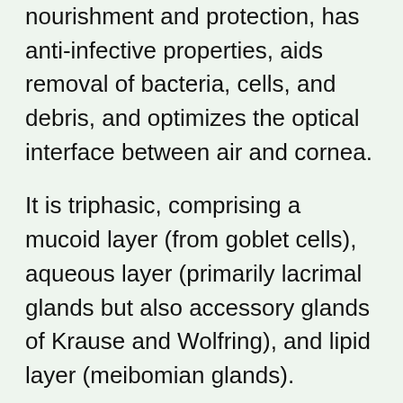nourishment and protection, has anti-infective properties, aids removal of bacteria, cells, and debris, and optimizes the optical interface between air and cornea.
It is triphasic, comprising a mucoid layer (from goblet cells), aqueous layer (primarily lacrimal glands but also accessory glands of Krause and Wolfring), and lipid layer (meibomian glands).
Symptomatic watering results from reduced tear removal (by evaporation and drainage) and/or overproduction. Obstructive epiphora refers to reduced tear drainage.